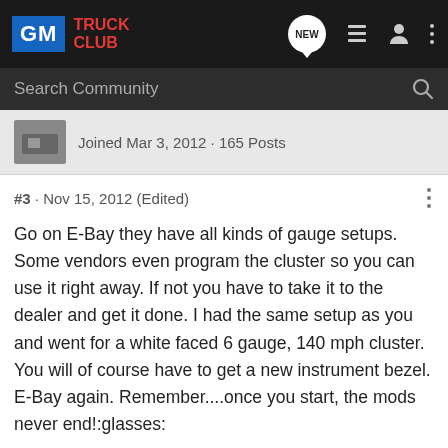GM TRUCK CLUB
Search Community
Joined Mar 3, 2012 · 165 Posts
#3 · Nov 15, 2012 (Edited)
Go on E-Bay they have all kinds of gauge setups. Some vendors even program the cluster so you can use it right away. If not you have to take it to the dealer and get it done. I had the same setup as you and went for a white faced 6 gauge, 140 mph cluster. You will of course have to get a new instrument bezel. E-Bay again. Remember....once you start, the mods never end!:glasses: